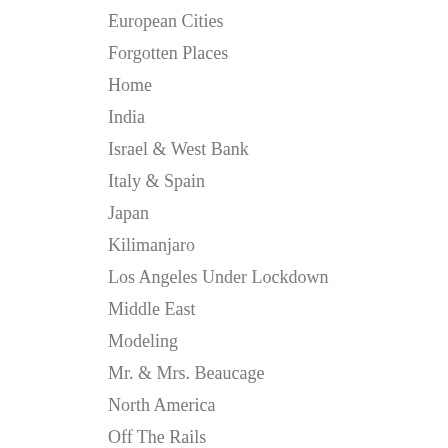European Cities
Forgotten Places
Home
India
Israel & West Bank
Italy & Spain
Japan
Kilimanjaro
Los Angeles Under Lockdown
Middle East
Modeling
Mr. & Mrs. Beaucage
North America
Off The Rails